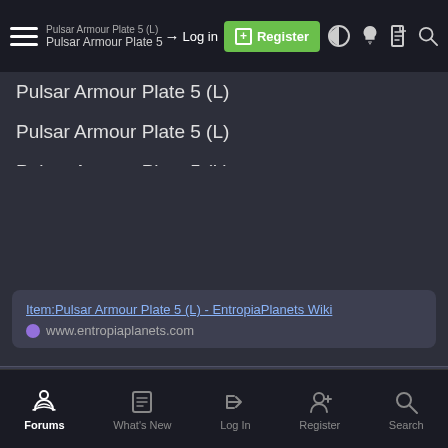Pulsar Armour Plate 5 (L)
Pulsar Armour Plate 5 (L)
Pulsar Armour Plate 5 (L)
Pulsar Armour Plate 5 (L)
Pulsar Armour Plate 5 (L)
Pulsar Armour Plate 5 (L)
Pulsar Armour Plate 5 (L)
Pulsar Armour Plate 5 (L)
Item:Pulsar Armour Plate 5 (L) - EntropiaPlanets Wiki
www.entropiaplanets.com
| Armor Plate Protection Stats |  |
| --- | --- |
| Stab (pts) | 5 |
| Cut (pts) | 8 |
Forums  What's New  Log In  Register  Search